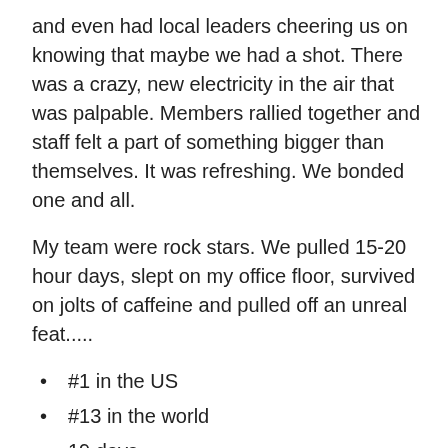and even had local leaders cheering us on knowing that maybe we had a shot. There was a crazy, new electricity in the air that was palpable. Members rallied together and staff felt a part of something bigger than themselves. It was refreshing. We bonded one and all.
My team were rock stars. We pulled 15-20 hour days, slept on my office floor, survived on jolts of caffeine and pulled off an unreal feat.....
#1 in the US
#13 in the world
19 days
21 countries
513 facilities
581 DPY participants